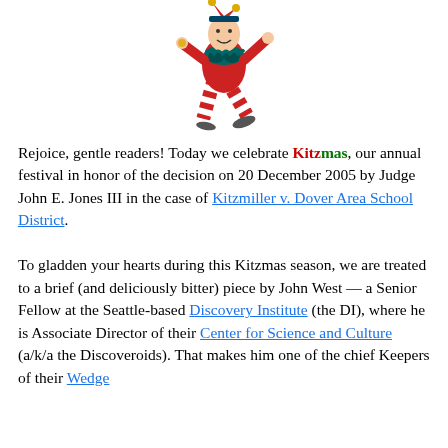[Figure (illustration): A colorful jester/fool illustration in red, black, teal and white stripes, depicted in a tumbling or dancing pose with jingle bells and curled shoes]
Rejoice, gentle readers! Today we celebrate Kitzmas, our annual festival in honor of the decision on 20 December 2005 by Judge John E. Jones III in the case of Kitzmiller v. Dover Area School District.

To gladden your hearts during this Kitzmas season, we are treated to a brief (and deliciously bitter) piece by John West — a Senior Fellow at the Seattle-based Discovery Institute (the DI), where he is Associate Director of their Center for Science and Culture (a/k/a the Discoveroids). That makes him one of the chief Keepers of their Wedge